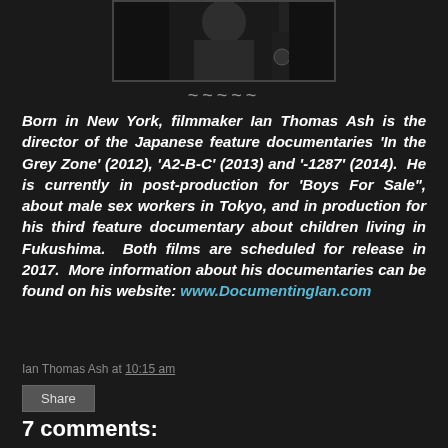[Figure (photo): Partial photo of a person in dark clothing, cropped at top of page]
~~~~~
Born in New York, filmmaker Ian Thomas Ash is the director of the Japanese feature documentaries 'In the Grey Zone' (2012), 'A2-B-C' (2013) and '-1287' (2014). He is currently in post-production for 'Boys For Sale", about male sex workers in Tokyo, and in production for his third feature documentary about children living in Fukushima. Both films are scheduled for release in 2017. More information about his documentaries can be found on his website: www.DocumentingIan.com
Ian Thomas Ash at 10:15 am
Share
7 comments: